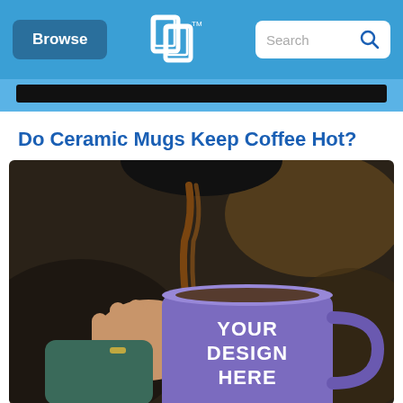Browse | [Logo] | Search
Do Ceramic Mugs Keep Coffee Hot?
[Figure (photo): A hand holding a purple ceramic mug with 'YOUR DESIGN HERE' text on it, while coffee is being poured into it from above. The background is dark and blurred.]